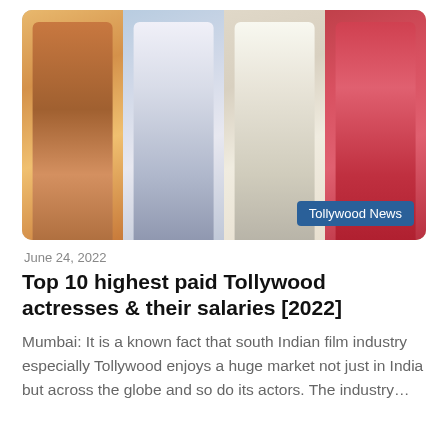[Figure (photo): Collage of four Tollywood actresses. First actress in yellow floral outfit, second in white button-up shirt and blue skirt, third in white crop top, fourth in red satin sleeveless top. Badge reads 'Tollywood News' in bottom right.]
June 24, 2022
Top 10 highest paid Tollywood actresses & their salaries [2022]
Mumbai: It is a known fact that south Indian film industry especially Tollywood enjoys a huge market not just in India but across the globe and so do its actors. The industry…